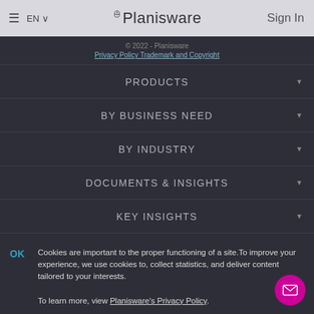≡  EN ∨  Planisware  Sign In
© 2022 - Planisware
Privacy Policy Trademark and Copyright
PRODUCTS
BY BUSINESS NEED
BY INDUSTRY
DOCUMENTS & INSIGHTS
KEY INSIGHTS
EVENTS
TRAINING AND CERTIFICATION
Cookies are important to the proper functioning of a site. To improve your experience, we use cookies to, collect statistics, and deliver content tailored to your interests.

To learn more, view Planisware's Privacy Policy.